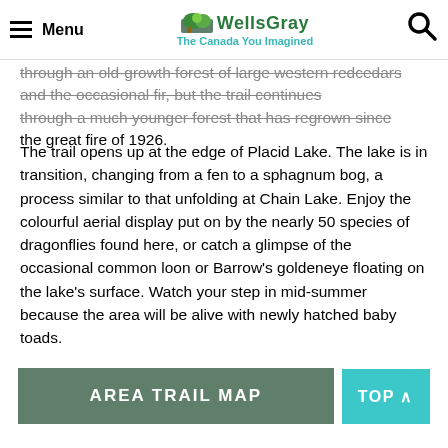Menu | WellsGray The Canada You Imagined | Search
through an old-growth forest of large western redcedars and the occasional fir, but the trail continues through a much younger forest that has regrown since the great fire of 1926.
The trail opens up at the edge of Placid Lake. The lake is in transition, changing from a fen to a sphagnum bog, a process similar to that unfolding at Chain Lake. Enjoy the colourful aerial display put on by the nearly 50 species of dragonflies found here, or catch a glimpse of the occasional common loon or Barrow's goldeneye floating on the lake's surface. Watch your step in mid-summer because the area will be alive with newly hatched baby toads.
AREA TRAIL MAP
TOP ∧